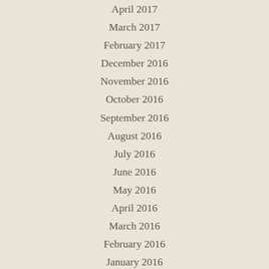April 2017
March 2017
February 2017
December 2016
November 2016
October 2016
September 2016
August 2016
July 2016
June 2016
May 2016
April 2016
March 2016
February 2016
January 2016
December 2015
November 2015
October 2015
September 2015
August 2015
July 2015